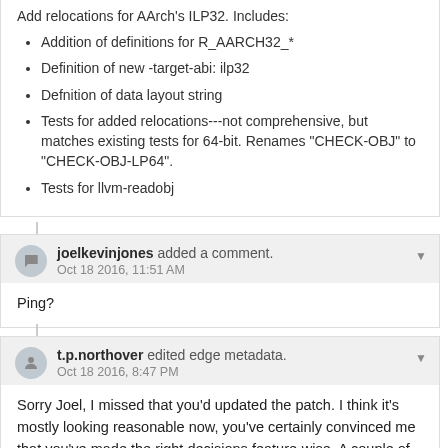Add relocations for AArch's ILP32. Includes:
Addition of definitions for R_AARCH32_*
Definition of new -target-abi: ilp32
Defnition of data layout string
Tests for added relocations---not comprehensive, but matches existing tests for 64-bit. Renames "CHECK-OBJ" to "CHECK-OBJ-LP64".
Tests for llvm-readobj
joelkevinjones added a comment.
Oct 18 2016, 11:51 AM
Ping?
t.p.northover edited edge metadata.
Oct 18 2016, 8:47 PM
Sorry Joel, I missed that you'd updated the patch. I think it's mostly looking reasonable now, you've certainly convinced me that you've made the right decisions feature-wise. A couple of comments: